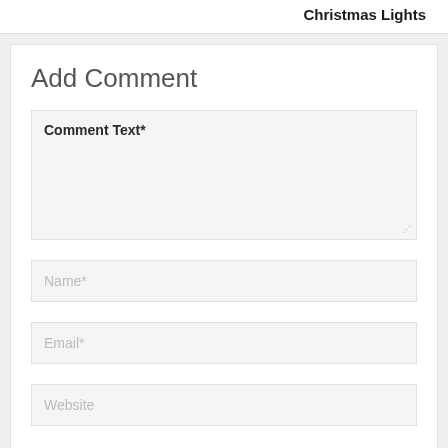Christmas Lights
Add Comment
Comment Text*
Name*
Email*
Website